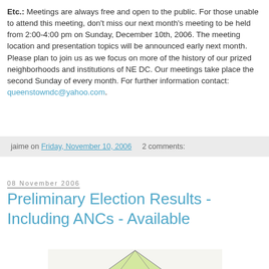Etc.: Meetings are always free and open to the public. For those unable to attend this meeting, don't miss our next month's meeting to be held from 2:00-4:00 pm on Sunday, December 10th, 2006. The meeting location and presentation topics will be announced early next month. Please plan to join us as we focus on more of the history of our prized neighborhoods and institutions of NE DC. Our meetings take place the second Sunday of every month. For further information contact: queenstowndc@yahoo.com.
jaime on Friday, November 10, 2006   2 comments:
08 November 2006
Preliminary Election Results - Including ANCs - Available
[Figure (map): Partial map image showing a triangular district map of NE DC with green-shaded regions and numbered sections]